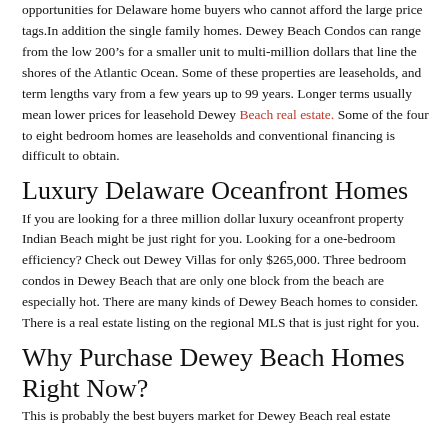opportunities for Delaware home buyers who cannot afford the large price tags.In addition the single family homes. Dewey Beach Condos can range from the low 200’s for a smaller unit to multi-million dollars that line the shores of the Atlantic Ocean. Some of these properties are leaseholds, and term lengths vary from a few years up to 99 years. Longer terms usually mean lower prices for leasehold Dewey Beach real estate. Some of the four to eight bedroom homes are leaseholds and conventional financing is difficult to obtain.
Luxury Delaware Oceanfront Homes
If you are looking for a three million dollar luxury oceanfront property Indian Beach might be just right for you. Looking for a one-bedroom efficiency? Check out Dewey Villas for only $265,000. Three bedroom condos in Dewey Beach that are only one block from the beach are especially hot. There are many kinds of Dewey Beach homes to consider. There is a real estate listing on the regional MLS that is just right for you.
Why Purchase Dewey Beach Homes Right Now?
This is probably the best buyers market for Dewey Beach real estate